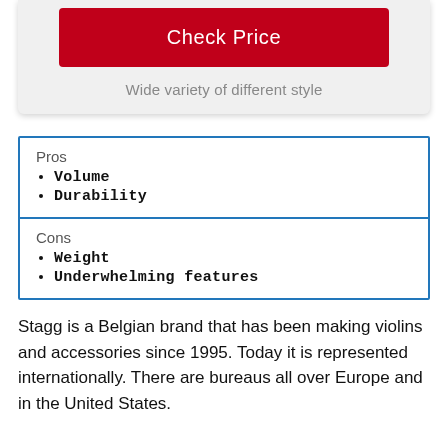[Figure (other): Red 'Check Price' button on a light grey card background]
Wide variety of different style
Pros
Volume
Durability
Cons
Weight
Underwhelming features
Stagg is a Belgian brand that has been making violins and accessories since 1995. Today it is represented internationally. There are bureaus all over Europe and in the United States.